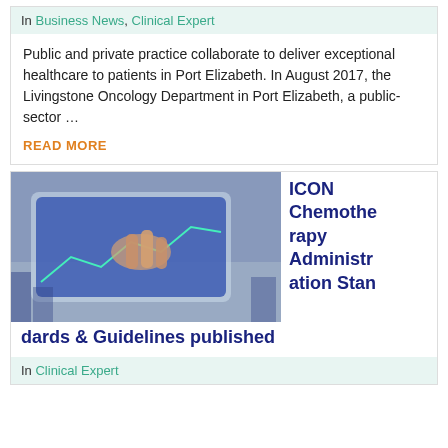In Business News, Clinical Expert
Public and private practice collaborate to deliver exceptional healthcare to patients in Port Elizabeth. In August 2017, the Livingstone Oncology Department in Port Elizabeth, a public-sector …
READ MORE
[Figure (photo): A person pointing at a financial or data chart on a tablet screen, with charts and graphs visible in the background]
ICON Chemotherapy Administration Standards & Guidelines published
In Clinical Expert